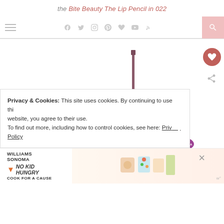the Bite Beauty The Lip Pencil in 022
[Figure (illustration): Navigation bar with hamburger menu, social media icons (Facebook, Twitter, Instagram, Pinterest, heart/Bloglovin, YouTube, RSS), and pink search button on the right]
[Figure (photo): Product photo of Bite Beauty Lip Pencil in shade 022, a slim pencil with a mauve/nude tip shown at an angle with a cursive swipe mark on a white background, partially overlaid with a Sephora Quality badge]
Privacy & Cookies: This site uses cookies. By continuing to use this website, you agree to their use. To find out more, including how to control cookies, see here: Privacy Policy
[Figure (screenshot): Williams Sonoma No Kid Hungry advertisement: Cook For A Cause, with baking/cookie images and an X close button]